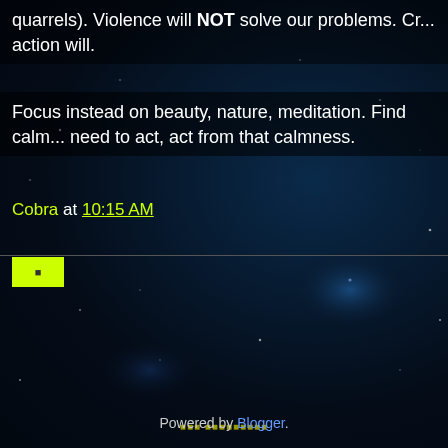quarrels). Violence will NOT solve our problems. Cr... action will.
Focus instead on beauty, nature, meditation. Find calm... need to act, act from that calmness.
Cobra at 10:15 AM
[Figure (screenshot): Yellow-green navigation buttons: left arrow, center home/menu button, right arrow; subscribe text below; Powered by Blogger footer]
Powered by Blogger.